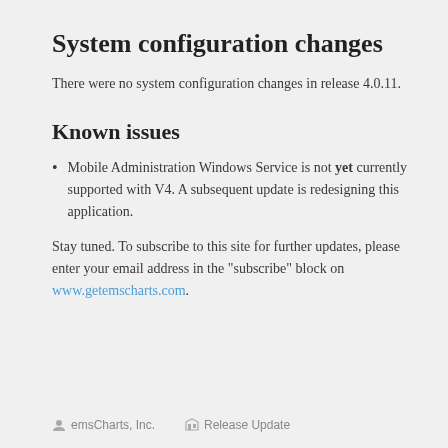System configuration changes
There were no system configuration changes in release 4.0.11.
Known issues
Mobile Administration Windows Service is not yet currently supported with V4. A subsequent update is redesigning this application.
Stay tuned. To subscribe to this site for further updates, please enter your email address in the “subscribe” block on www.getemscharts.com.
emsCharts, Inc.   Release Update